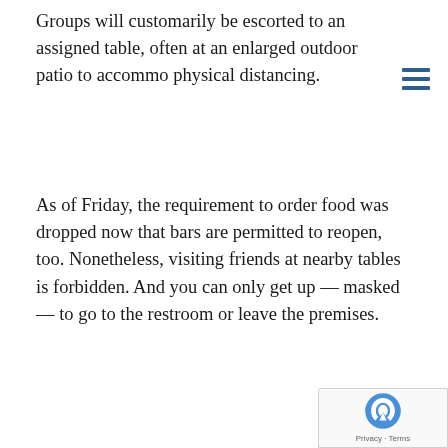Groups will customarily be escorted to an assigned table, often at an enlarged outdoor patio to accommo physical distancing.
As of Friday, the requirement to order food was dropped now that bars are permitted to reopen, too. Nonetheless, visiting friends at nearby tables is forbidden. And you can only get up — masked — to go to the restroom or leave the premises.
“Things will be very different than they were before,” Torrance’s Smog City Brewing, which re-opened this weekend, told its customers in its regular newsletter.
“Many of these items are state and county rules we must follow,” the family-owned brewery added. “Thank you in advance for your patience and understanding as we move into yet another new way of doing business.